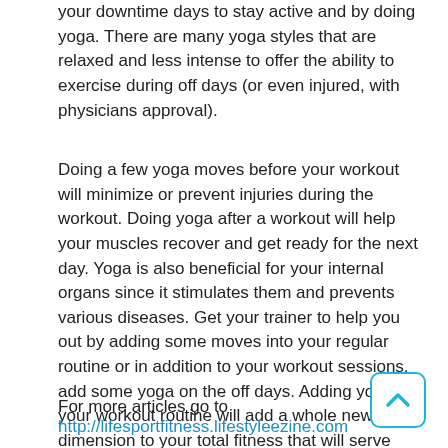your downtime days to stay active and by doing yoga. There are many yoga styles that are relaxed and less intense to offer the ability to exercise during off days (or even injured, with physicians approval).
Doing a few yoga moves before your workout will minimize or prevent injuries during the workout. Doing yoga after a workout will help your muscles recover and get ready for the next day. Yoga is also beneficial for your internal organs since it stimulates them and prevents various diseases. Get your trainer to help you out by adding some moves into your regular routine or in addition to your workout sessions, add some yoga on the off days. Adding yoga to your workout routine will add a whole new dimension to your total fitness that will serve you well for a lifetime. There are many styles and intensities that you can find one that is perfect for you and your fitness goals.
For more articles go to
http://lifesportfitness.lifestyleezine.com